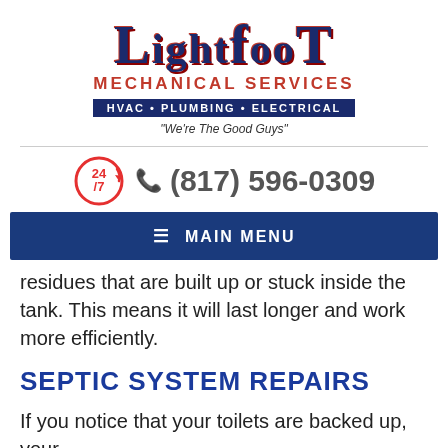[Figure (logo): Lightfoot Mechanical Services logo with HVAC Plumbing Electrical tagline and 'We're The Good Guys' slogan]
[Figure (infographic): 24/7 circular badge icon in red]
(817) 596-0309
≡ MAIN MENU
residues that are built up or stuck inside the tank. This means it will last longer and work more efficiently.
SEPTIC SYSTEM REPAIRS
If you notice that your toilets are backed up, your